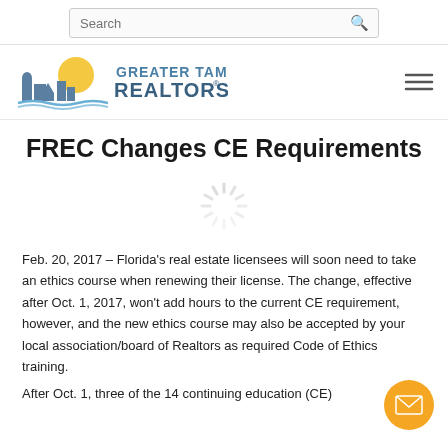Search
[Figure (logo): Greater Tampa Realtors logo with cityscape and sun graphic]
FREC Changes CE Requirements
[Figure (other): Loading spinner graphic]
Feb. 20, 2017 – Florida's real estate licensees will soon need to take an ethics course when renewing their license. The change, effective after Oct. 1, 2017, won't add hours to the current CE requirement, however, and the new ethics course may also be accepted by your local association/board of Realtors as required Code of Ethics training.
After Oct. 1, three of the 14 continuing education (CE)